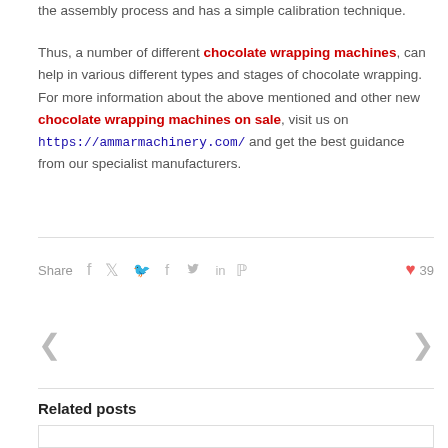the assembly process and has a simple calibration technique.
Thus, a number of different chocolate wrapping machines, can help in various different types and stages of chocolate wrapping. For more information about the above mentioned and other new chocolate wrapping machines on sale, visit us on https://ammarmachinery.com/ and get the best guidance from our specialist manufacturers.
Share  f  t  in  P    ♥ 39
[Figure (other): Navigation arrows: left and right chevrons for post navigation]
Related posts
[Figure (other): Related posts card placeholder box]